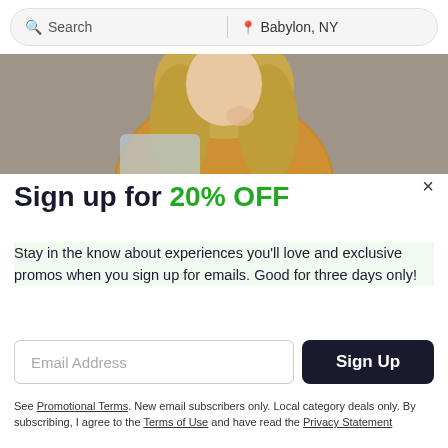Search | Babylon, NY
[Figure (photo): Woman in mustard/orange polka dot top sitting near a light blue chair, with long wavy blonde hair, hand near chin, against a grey background]
Sign up for 20% OFF
Stay in the know about experiences you'll love and exclusive promos when you sign up for emails. Good for three days only!
Email Address
Sign Up
See Promotional Terms. New email subscribers only. Local category deals only. By subscribing, I agree to the Terms of Use and have read the Privacy Statement